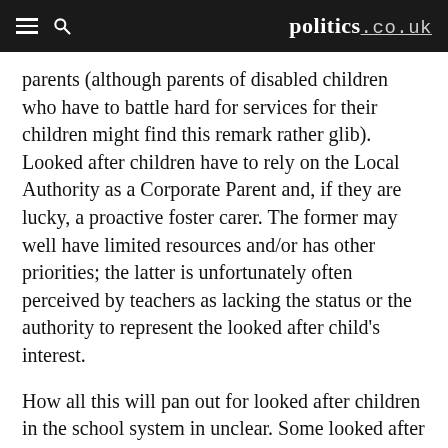politics.co.uk
parents (although parents of disabled children who have to battle hard for services for their children might find this remark rather glib). Looked after children have to rely on the Local Authority as a Corporate Parent and, if they are lucky, a proactive foster carer. The former may well have limited resources and/or has other priorities; the latter is unfortunately often perceived by teachers as lacking the status or the authority to represent the looked after child's interest.
How all this will pan out for looked after children in the school system in unclear. Some looked after children will undoubtedly receive excellent educational opportunities. Others will not be so lucky. We owe it to this group of children to